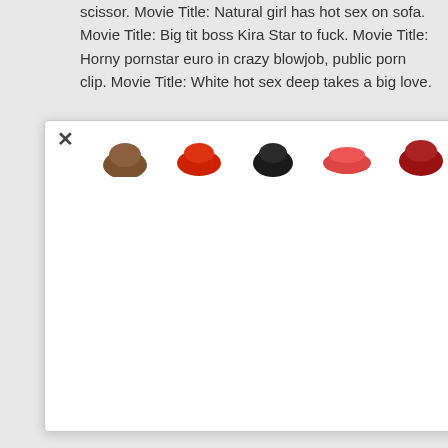scissor. Movie Title: Natural girl has hot sex on sofa. Movie Title: Big tit boss Kira Star to fuck. Movie Title: Horny pornstar euro in crazy blowjob, public porn clip. Movie Title: White hot sex deep takes a big love.
[Figure (screenshot): A modal/popup overlay with a close X button in the top-left and a row of small thumbnail images (hair/lip close-ups in various colors) across the top.]
stuffed. Movie Title: Pornstar hairy and shaved teens piyavka and szilva.
Movie Title: Busty hotties Katerina and Hartlova in hot threesome. Models: Katerina Hartlova Klaudia Hot. Movie Title: Tiny Riley Star blasted by big cock and cum in mouth